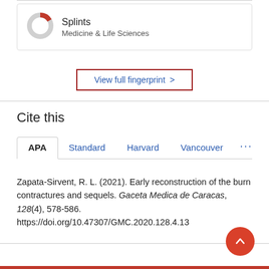[Figure (donut-chart): Donut chart icon for Splints topic with a red segment, grey ring]
Splints
Medicine & Life Sciences
View full fingerprint >
Cite this
APA  Standard  Harvard  Vancouver  ...
Zapata-Sirvent, R. L. (2021). Early reconstruction of the burn contractures and sequels. Gaceta Medica de Caracas, 128(4), 578-586. https://doi.org/10.47307/GMC.2020.128.4.13